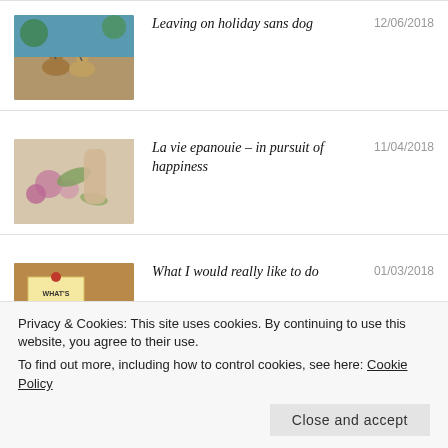[Figure (photo): Two dogs on leashes at an outdoor market or park]
Leaving on holiday sans dog
12/06/2018
[Figure (photo): Person arranging colorful flowers at a market]
La vie epanouie – in pursuit of happiness
11/04/2018
[Figure (photo): Corkboard with sticky note reading WHAT'S NEXT?]
What I would really like to do
01/03/2018
Privacy & Cookies: This site uses cookies. By continuing to use this website, you agree to their use.
To find out more, including how to control cookies, see here: Cookie Policy
Close and accept